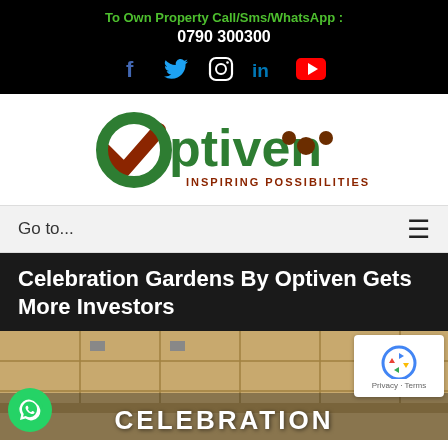To Own Property Call/Sms/WhatsApp : 0790 300300
[Figure (logo): Social media icons: Facebook, Twitter, Instagram, LinkedIn, YouTube]
[Figure (logo): Optiven logo with checkmark and tagline INSPIRING POSSIBILITIES]
Go to...
Celebration Gardens By Optiven Gets More Investors
[Figure (photo): Aerial view of Celebration Gardens land development with CELEBRATION text overlay, WhatsApp contact button, and reCAPTCHA widget]